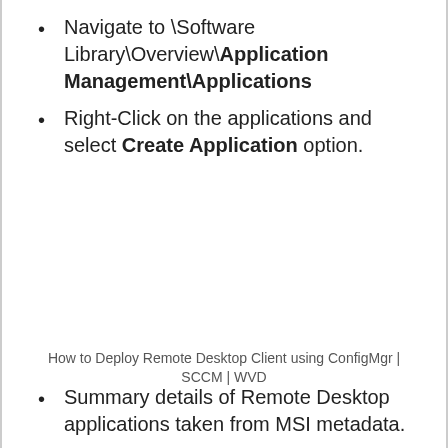Navigate to \Software Library\Overview\Application Management\Applications
Right-Click on the applications and select Create Application option.
How to Deploy Remote Desktop Client using ConfigMgr | SCCM | WVD
Summary details of Remote Desktop applications taken from MSI metadata.